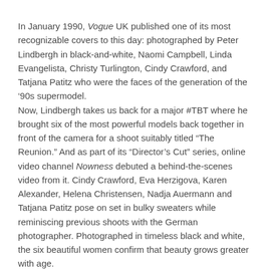In January 1990, Vogue UK published one of its most recognizable covers to this day: photographed by Peter Lindbergh in black-and-white, Naomi Campbell, Linda Evangelista, Christy Turlington, Cindy Crawford, and Tatjana Patitz who were the faces of the generation of the ‘90s supermodel.
Now, Lindbergh takes us back for a major #TBT where he brought six of the most powerful models back together in front of the camera for a shoot suitably titled “The Reunion.” And as part of its “Director’s Cut” series, online video channel Nowness debuted a behind-the-scenes video from it. Cindy Crawford, Eva Herzigova, Karen Alexander, Helena Christensen, Nadja Auermann and Tatjana Patitz pose on set in bulky sweaters while reminiscing previous shoots with the German photographer. Photographed in timeless black and white, the six beautiful women confirm that beauty grows greater with age.